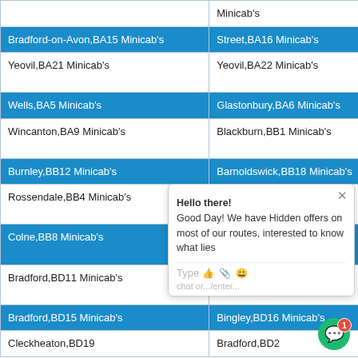| Col1 | Col2 | Col3 | Col4(partial) |
| --- | --- | --- | --- |
|  | Minicab's |  | M… |
| Bradford-on-Avon,BA15 Minicab's | Street,BA16 Minicab's | Bath,BA2 Minicab's | Y… |
| Yeovil,BA21 Minicab's | Yeovil,BA22 Minicab's | Radstock,BA3 Minicab's | S… M… |
| Wells,BA5 Minicab's | Glastonbury,BA6 Minicab's | Castle Cary,BA7 Minicab's | M… |
| Wincanton,BA9 Minicab's | Blackburn,BB1 Minicab's | Burnley,BB10 Minicab's | B… M… |
| Burnley,BB12 Minicab's | Barnoldswick,BB18 Minicab's | Blackburn,BB2 Minicab's | B… |
| Rossendale,BB4 Minicab's | Accrington,BB5 Minicab's | Blackburn… | C… M… |
| Colne,BB8 Minicab's | Nelson,BB9 Minicab's | Bradford… | B… M… |
| Bradford,BD11 Minicab's | Bradford,BD12 Minicab's | Bradford,B… | B… M… |
| Bradford,BD15 Minicab's | Bingley,BD16 Minicab's | Shipley,BD17 Minicab's | S… |
| Cleckheaton,BD19 | Bradford,BD2 | Keighley,BD20 Minicab's |  |
[Figure (other): Live chat popup overlay with message: 'Hello there! Good Day! We have Hidden offers on most of our routes, interested to know what lies' and a text input row with emoji/attachment icons. Green chat bubble button with red notification badge showing '1' in bottom right corner.]